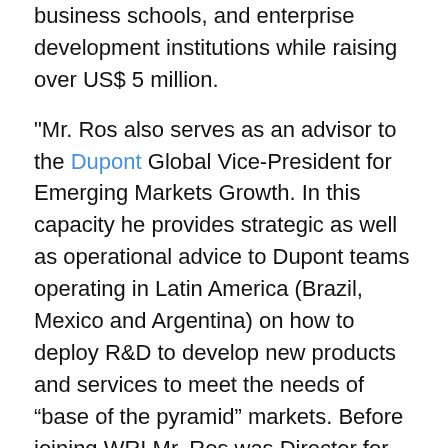business schools, and enterprise development institutions while raising over US$ 5 million.
"Mr. Ros also serves as an advisor to the Dupont Global Vice-President for Emerging Markets Growth. In this capacity he provides strategic as well as operational advice to Dupont teams operating in Latin America (Brazil, Mexico and Argentina) on how to deploy R&D to develop new products and services to meet the needs of “base of the pyramid” markets. Before joining WRI Mr. Ros was Director for the National Environmental Fund at the Ministry of Environment in Brazil, where he managed a $20 million annual budget funding projects in clean technology, solid waste management, organic agriculture, sustainable forestry, ecotourism, and protected areas. Under his leadership the Environmental Fund was able to maximize efficiency, growing 74% and increasing four-fold the number of annual projects they funded.